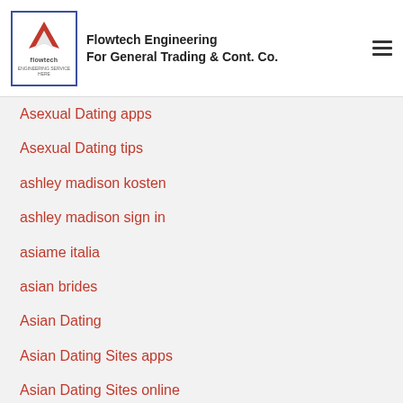Flowtech Engineering For General Trading & Cont. Co.
armenian-dating reviews
arvada escort index
arvada escort service
Asexual Dating apps
Asexual Dating tips
ashley madison kosten
ashley madison sign in
asiame italia
asian brides
Asian Dating
Asian Dating Sites apps
Asian Dating Sites online
Asian Dating Sites visitors
asian mail order brides